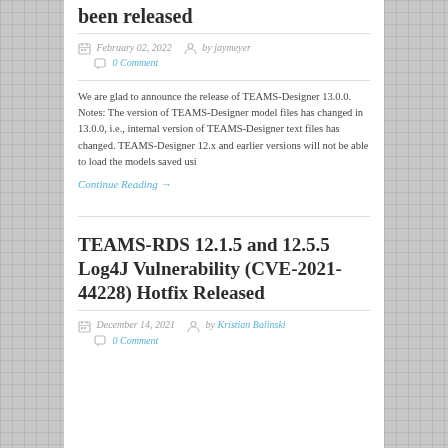been released
February 02, 2022  by jaymeyer  0 Comment
We are glad to announce the release of TEAMS-Designer 13.0.0. Notes: The version of TEAMS-Designer model files has changed in 13.0.0, i.e., internal version of TEAMS-Designer text files has changed. TEAMS-Designer 12.x and earlier versions will not be able to load the models saved usi
Continue Reading →
TEAMS-RDS 12.1.5 and 12.5.5 Log4J Vulnerability (CVE-2021-44228) Hotfix Released
December 14, 2021  by Kristian Balinski  0 Comment